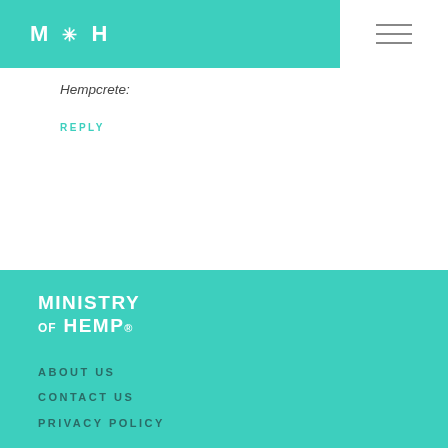M * H
Hempcrete:
REPLY
[Figure (logo): Ministry of Hemp logo - white text on teal background reading MINISTRY OF HEMP]
ABOUT US
CONTACT US
PRIVACY POLICY